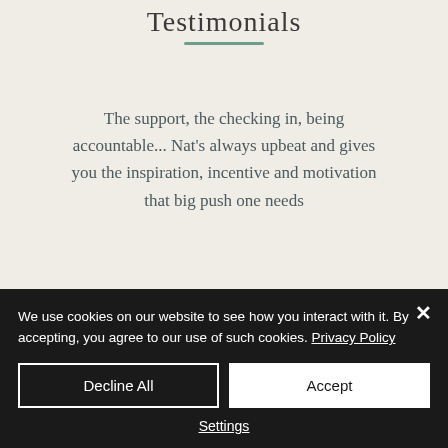Testimonials
The support, the checking in, being accountable... Nat's always upbeat and gives you the inspiration, incentive and motivation that big push one needs
We use cookies on our website to see how you interact with it. By accepting, you agree to our use of such cookies. Privacy Policy
Decline All
Accept
Settings